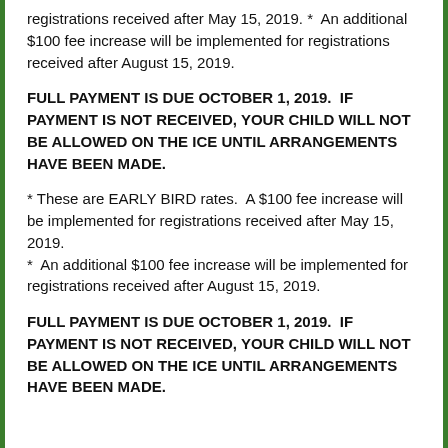registrations received after May 15, 2019. *  An additional $100 fee increase will be implemented for registrations received after August 15, 2019.
FULL PAYMENT IS DUE OCTOBER 1, 2019.  IF PAYMENT IS NOT RECEIVED, YOUR CHILD WILL NOT BE ALLOWED ON THE ICE UNTIL ARRANGEMENTS HAVE BEEN MADE.
* These are EARLY BIRD rates.  A $100 fee increase will be implemented for registrations received after May 15, 2019.
*  An additional $100 fee increase will be implemented for registrations received after August 15, 2019.
FULL PAYMENT IS DUE OCTOBER 1, 2019.  IF PAYMENT IS NOT RECEIVED, YOUR CHILD WILL NOT BE ALLOWED ON THE ICE UNTIL ARRANGEMENTS HAVE BEEN MADE.